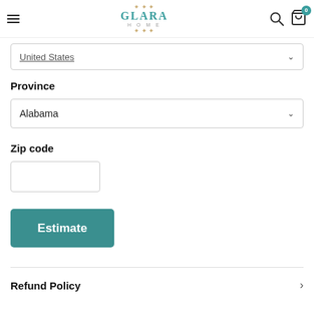Glara Home — navigation header with hamburger menu, logo, search and cart icons
United States
Province
Alabama
Zip code
Estimate
Refund Policy